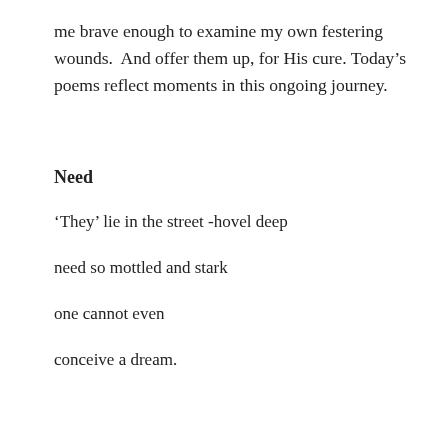me brave enough to examine my own festering wounds.  And offer them up, for His cure. Today’s poems reflect moments in this ongoing journey.
Need
‘They’ lie in the street -hovel deep
need so mottled and stark
one cannot even
conceive a dream.